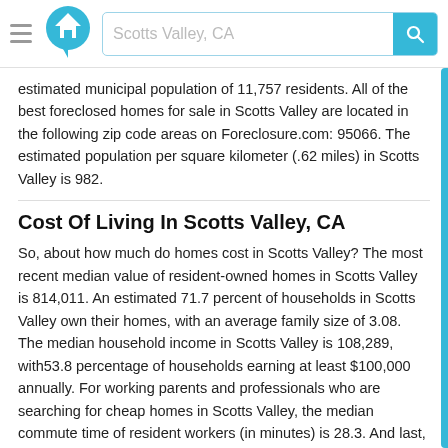Scotts Valley, CA
estimated municipal population of 11,757 residents. All of the best foreclosed homes for sale in Scotts Valley are located in the following zip code areas on Foreclosure.com: 95066. The estimated population per square kilometer (.62 miles) in Scotts Valley is 982.
Cost Of Living In Scotts Valley, CA
So, about how much do homes cost in Scotts Valley? The most recent median value of resident-owned homes in Scotts Valley is 814,011. An estimated 71.7 percent of households in Scotts Valley own their homes, with an average family size of 3.08. The median household income in Scotts Valley is 108,289, with53.8 percentage of households earning at least $100,000 annually. For working parents and professionals who are searching for cheap homes in Scotts Valley, the median commute time of resident workers (in minutes) is 28.3. And last, but certainly not least, are you looking for homes to rent in Scotts Valley? If so, the average rent price paid by renters in Scotts Valley is 1,975,